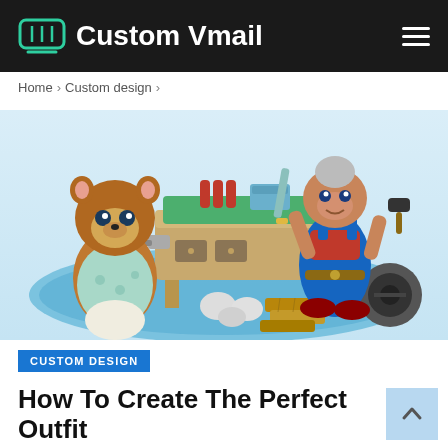Custom Vmail
Home > Custom design >
[Figure (illustration): Animal Crossing scene: Tom Nook character on the left wearing a floral shirt, and an elderly female character on the right wearing blue overalls holding a saw and hammer, standing around a workbench with crafting materials including wood, stones, and tools on a blue oval rug.]
CUSTOM DESIGN
How To Create The Perfect Outfit